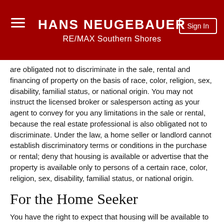HANS NEUGEBAUER
RE/MAX Southern Shores
are obligated not to discriminate in the sale, rental and financing of property on the basis of race, color, religion, sex, disability, familial status, or national origin. You may not instruct the licensed broker or salesperson acting as your agent to convey for you any limitations in the sale or rental, because the real estate professional is also obligated not to discriminate. Under the law, a home seller or landlord cannot establish discriminatory terms or conditions in the purchase or rental; deny that housing is available or advertise that the property is available only to persons of a certain race, color, religion, sex, disability, familial status, or national origin.
For the Home Seeker
You have the right to expect that housing will be available to you without discrimination or other limitations based on race, color, religion, sex, disability, familial status, or national origin.